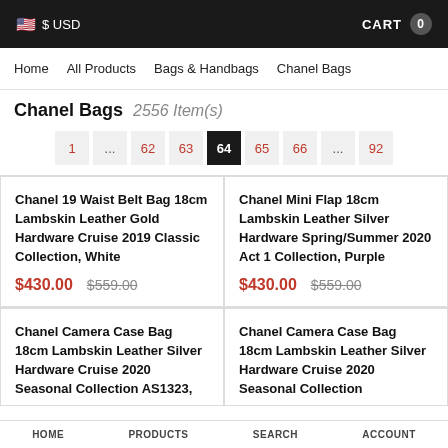🇺🇸 $ USD    CART 0
Home   All Products   Bags & Handbags   Chanel Bags
Chanel Bags  2556 Item(s)
Pagination: 1 ... 62 63 64 65 66 ... 92
Chanel 19 Waist Belt Bag 18cm Lambskin Leather Gold Hardware Cruise 2019 Classic Collection, White
$430.00  $559.00
Chanel Mini Flap 18cm Lambskin Leather Silver Hardware Spring/Summer 2020 Act 1 Collection, Purple
$430.00  $559.00
Chanel Camera Case Bag 18cm Lambskin Leather Silver Hardware Cruise 2020 Seasonal Collection AS1323,
Chanel Camera Case Bag 18cm Lambskin Leather Silver Hardware Cruise 2020 Seasonal Collection
HOME   PRODUCTS   SEARCH   ACCOUNT